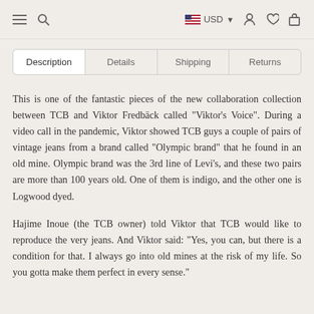≡ 🔍   USD ∨ 👤 ♡ 🛍
Description | Details | Shipping | Returns
This is one of the fantastic pieces of the new collaboration collection between TCB and Viktor Fredbäck called "Viktor's Voice". During a video call in the pandemic, Viktor showed TCB guys a couple of pairs of vintage jeans from a brand called "Olympic brand" that he found in an old mine. Olympic brand was the 3rd line of Levi's, and these two pairs are more than 100 years old. One of them is indigo, and the other one is Logwood dyed.
Hajime Inoue (the TCB owner) told Viktor that TCB would like to reproduce the very jeans. And Viktor said: "Yes, you can, but there is a condition for that. I always go into old mines at the risk of my life. So you gotta make them perfect in every sense."